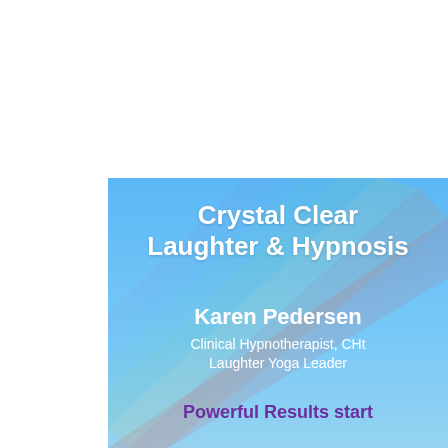[Figure (illustration): Book or album cover with a sky-blue gradient background and a rainbow arc sweeping diagonally from upper right to lower left. Contains title text, author name, credentials, and tagline.]
Crystal Clear Laughter & Hypnosis
Karen Pedersen
Clinical Hypnotherapist, CHt
Laughter Yoga Leader
Powerful Results start